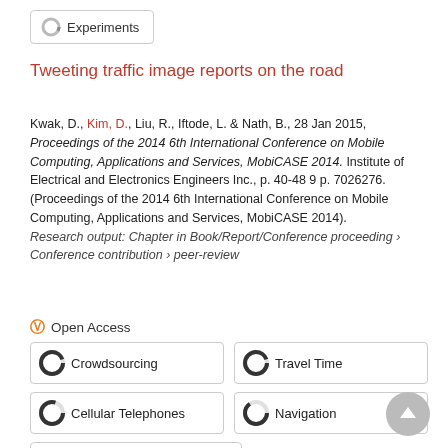Experiments
Tweeting traffic image reports on the road
Kwak, D., Kim, D., Liu, R., Iftode, L. & Nath, B., 28 Jan 2015, Proceedings of the 2014 6th International Conference on Mobile Computing, Applications and Services, MobiCASE 2014. Institute of Electrical and Electronics Engineers Inc., p. 40-48 9 p. 7026276. (Proceedings of the 2014 6th International Conference on Mobile Computing, Applications and Services, MobiCASE 2014).
Research output: Chapter in Book/Report/Conference proceeding › Conference contribution › peer-review
Open Access
Crowdsourcing
Travel Time
Cellular Telephones
Navigation
Decision Making